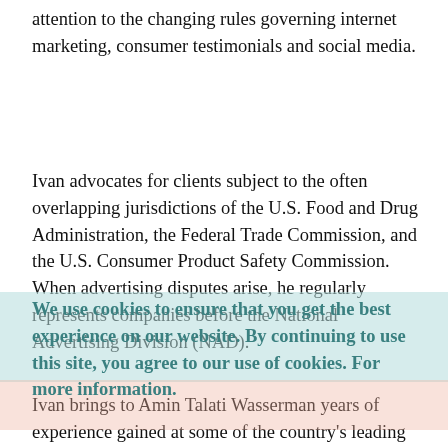attention to the changing rules governing internet marketing, consumer testimonials and social media.
Ivan advocates for clients subject to the often overlapping jurisdictions of the U.S. Food and Drug Administration, the Federal Trade Commission, and the U.S. Consumer Product Safety Commission. When advertising disputes arise, he regularly represents companies before the National Advertising Division (NAD).
Ivan brings to Amin Talati Wasserman years of experience gained at some of the country's leading law firms where he represented brand name manufacturers, direct-to-consumer marketers, and retail chains in product development, advertising